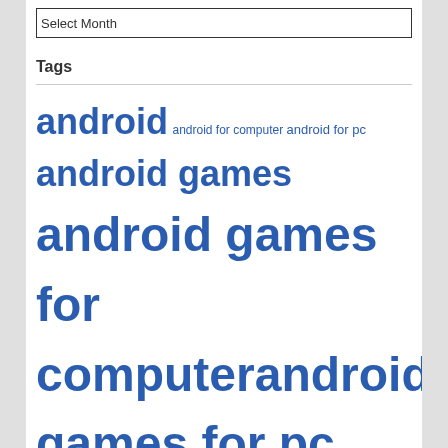Select Month
Tags
android android for computer android for pc android games android games for computer android games for pc android games for windows computer androin games for computer Animal jam – Play wild for Mac Animal jam – Play wild for PC Animal jam – Play wild for Windows 8 Animal jam – Play wild for Windows 10 Cosmic Challenge for computers Cosmic Challenge for MAC Cosmic Challenge for PC Cosmic Challenge for windows 8 Cosmic Challenge for windows 10 Disney Enchanted Tales for Computers Disney Enchanted Tales for PC Drive Ahead! Sports for Computers Drive Ahead! Sports for Desktop Drive Ahead! Sports for Mac Drive Ahead! Sports for PC Drive